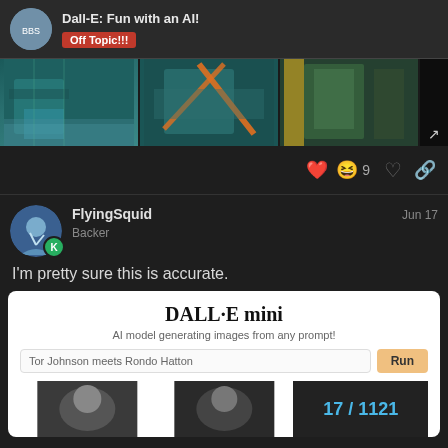Dall-E: Fun with an AI! Off Topic!!!
[Figure (photo): Three photographs in a horizontal strip showing fishing nets or similar teal/green nets, one with orange straps, one with a person in a yellow jacket visible]
❤️😆 9
FlyingSquid Backer  Jun 17
I'm pretty sure this is accurate.
[Figure (screenshot): DALL·E mini app screenshot showing title 'DALL·E mini', subtitle 'AI model generating images from any prompt!', input field with text 'Tor Johnson meets Rondo Hatton', a Run button, and partial image results below. Bottom right shows page number 17 / 1121.]